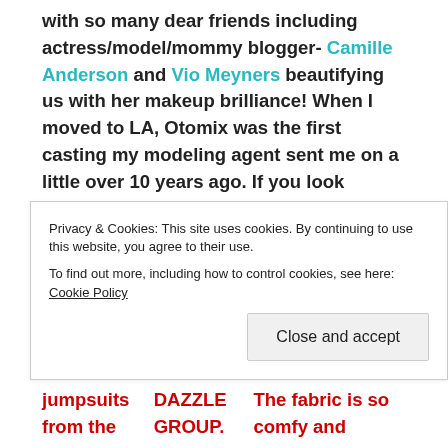with so many dear friends including actress/model/mommy blogger- Camille Anderson and Vio Meyners beautifying us with her makeup brilliance!  When I moved to LA, Otomix was the first casting my modeling agent sent me on a little over 10 years ago.  If you look through old catalogs, I have every hair color and hair length imaginable-SCARY!   My fave items in the line are the PANTS!  Seriously, I have a few pair that are about 5-8 years old and they look brand new.  You know how faded black yoga pants can start looking after a few months?  NOT THE OTOMIX PANTS!  They hold their shape and color- PLUS, if you have long legs and find it tough to find workout pants long enough- then you have to try their lycra pants!
Privacy & Cookies: This site uses cookies. By continuing to use this website, you agree to their use.
To find out more, including how to control cookies, see here: Cookie Policy
jumpsuits from the DAZZLE GROUP.  The fabric is so comfy and